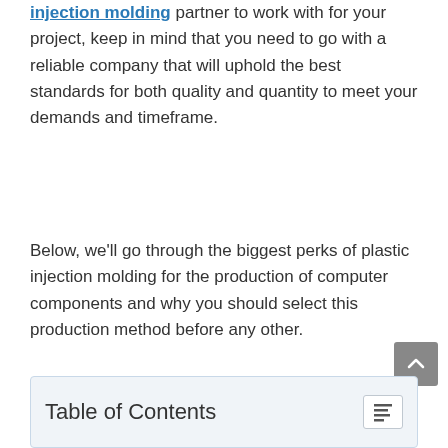injection molding partner to work with for your project, keep in mind that you need to go with a reliable company that will uphold the best standards for both quality and quantity to meet your demands and timeframe.
Below, we'll go through the biggest perks of plastic injection molding for the production of computer components and why you should select this production method before any other.
Table of Contents